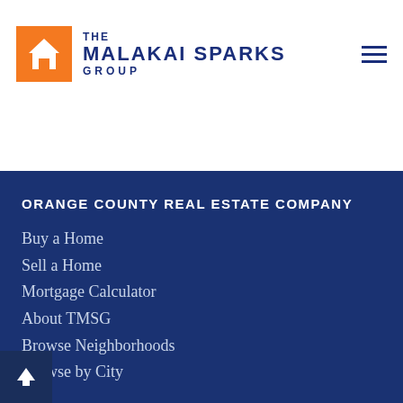[Figure (logo): The Malakai Sparks Group logo with orange house icon and dark blue text]
ORANGE COUNTY REAL ESTATE COMPANY
Buy a Home
Sell a Home
Mortgage Calculator
About TMSG
Browse Neighborhoods
Browse by City